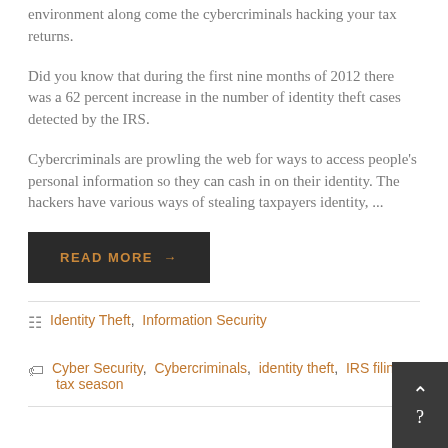environment along come the cybercriminals hacking your tax returns.
Did you know that during the first nine months of 2012 there was a 62 percent increase in the number of identity theft cases detected by the IRS.
Cybercriminals are prowling the web for ways to access people's personal information so they can cash in on their identity. The hackers have various ways of stealing taxpayers identity, ...
READ MORE →
Identity Theft, Information Security
Cyber Security, Cybercriminals, identity theft, IRS filings, tax season